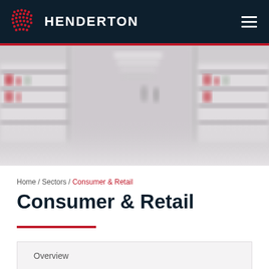[Figure (logo): Henderton logo: red dot-matrix grid icon with white text HENDERTON on dark navy background header]
[Figure (photo): Blurred retail store interior with shelves stocked with products, fading to white at the bottom]
Home / Sectors / Consumer & Retail
Consumer & Retail
Overview